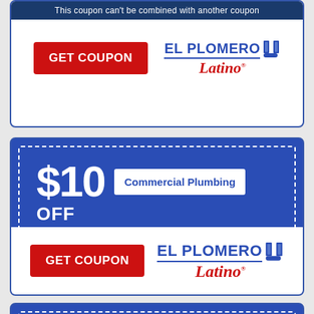This coupon can't be combined with another coupon
GET COUPON
[Figure (logo): El Plomero Latino plumbing company logo with pipe icon]
[Figure (infographic): $10 OFF Commercial Plumbing coupon - El Plomero Latino]
$10 OFF
Commercial Plumbing
This coupon can't be combined with another coupon
GET COUPON
[Figure (logo): El Plomero Latino plumbing company logo]
[Figure (infographic): Partial third coupon showing large dollar amount at bottom of page]